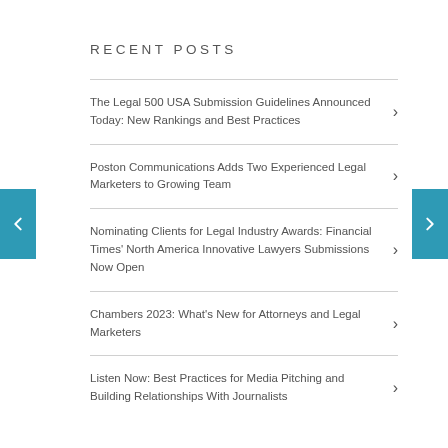RECENT POSTS
The Legal 500 USA Submission Guidelines Announced Today: New Rankings and Best Practices
Poston Communications Adds Two Experienced Legal Marketers to Growing Team
Nominating Clients for Legal Industry Awards: Financial Times' North America Innovative Lawyers Submissions Now Open
Chambers 2023: What's New for Attorneys and Legal Marketers
Listen Now: Best Practices for Media Pitching and Building Relationships With Journalists